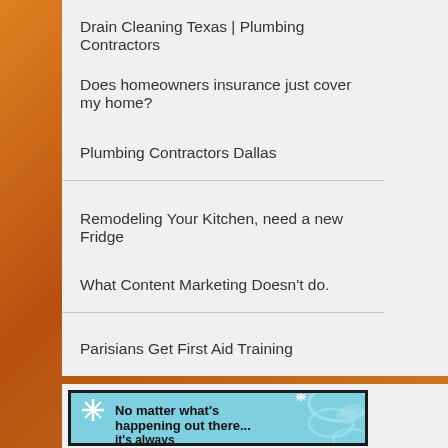Drain Cleaning Texas | Plumbing Contractors
Does homeowners insurance just cover my home?
Plumbing Contractors Dallas
Remodeling Your Kitchen, need a new Fridge
What Content Marketing Doesn't do.
Parisians Get First Aid Training
[Figure (infographic): Blue decorative background with swirl and snowflake pattern, bold black text reading 'No matter what's happening out there... it's always']